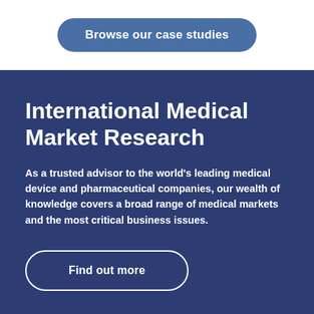Browse our case studies
International Medical Market Research
As a trusted advisor to the world's leading medical device and pharmaceutical companies, our wealth of knowledge covers a broad range of medical markets and the most critical business issues.
Find out more